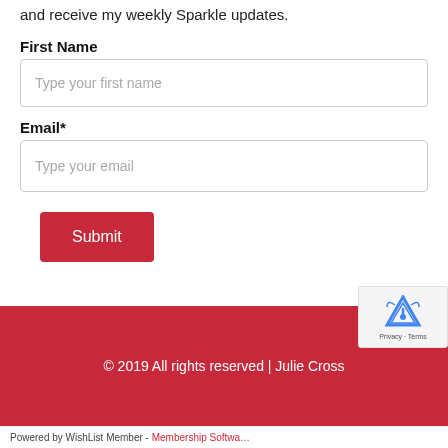and receive my weekly Sparkle updates.
First Name
Type your first name
Email*
Type your email
Submit
© 2019 All rights reserved | Julie Cross
Powered by WishList Member - Membership Softwa…